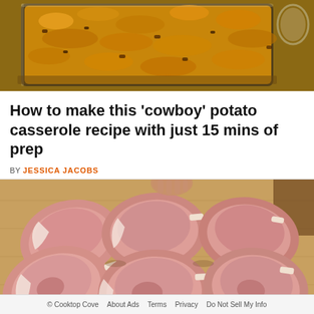[Figure (photo): A glass baking dish with a cheesy, breadcrumb-topped casserole, viewed from above on a wooden surface.]
How to make this 'cowboy' potato casserole recipe with just 15 mins of prep
BY JESSICA JACOBS
[Figure (photo): Six raw bone-in pork chops arranged on a wooden cutting board, with a hand visible at the top.]
© Cooktop Cove  About Ads  Terms  Privacy  Do Not Sell My Info